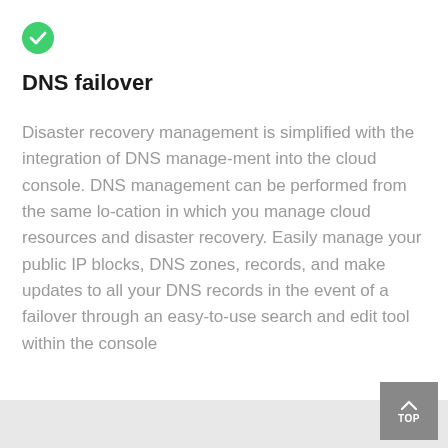[Figure (illustration): Green circle checkmark icon]
DNS failover
Disaster recovery management is simplified with the integration of DNS manage-ment into the cloud console. DNS management can be performed from the same lo-cation in which you manage cloud resources and disaster recovery. Easily manage your public IP blocks, DNS zones, records, and make updates to all your DNS records in the event of a failover through an easy-to-use search and edit tool within the console
TOP